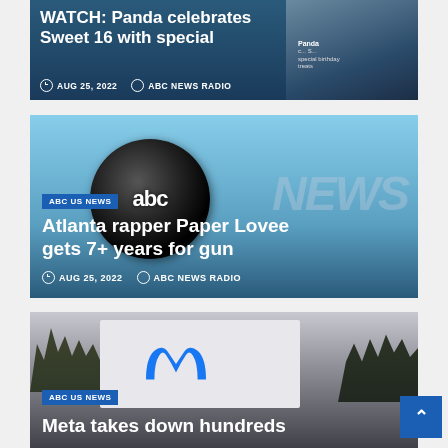[Figure (screenshot): News card 1: WATCH: Panda celebrates Sweet 16 with special, dated AUG 25, 2022, by ABC NEWS RADIO, on dark blue background with panda image thumbnail]
[Figure (screenshot): News card 2: Atlanta rapper Paper Lovee gets 7+ years for gun, dated AUG 25, 2022, by ABC NEWS RADIO, ABC US NEWS badge, ABC News logo disc on blue sky background]
[Figure (screenshot): News card 3: Meta takes down hundreds, ABC US NEWS badge, Meta logo sign on grey/dark background]